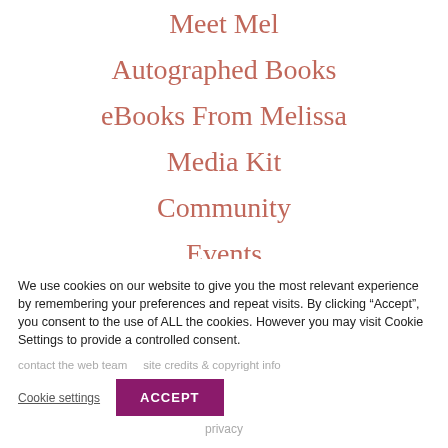Meet Mel
Autographed Books
eBooks From Melissa
Media Kit
Community
Events
Contact Mel
Subscribe
We use cookies on our website to give you the most relevant experience by remembering your preferences and repeat visits. By clicking “Accept”, you consent to the use of ALL the cookies. However you may visit Cookie Settings to provide a controlled consent.
contact the web team     site credits & copyright info
Cookie settings   ACCEPT
privacy